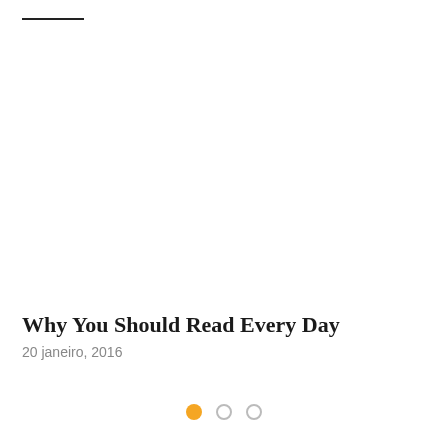—
[Figure (photo): Large blank/white image area taking up most of the upper portion of the page]
Why You Should Read Every Day
20 janeiro, 2016
[Figure (other): Pagination dots: one filled orange dot and two empty circle dots]